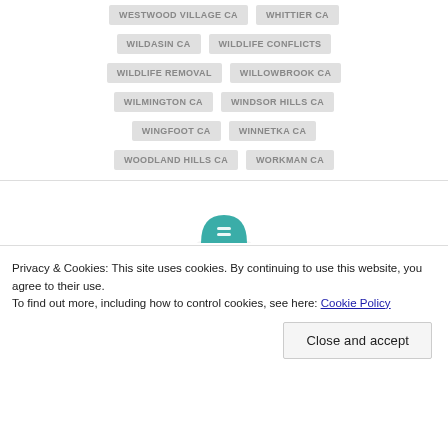WESTWOOD VILLAGE CA
WHITTIER CA
WILDASIN CA
WILDLIFE CONFLICTS
WILDLIFE REMOVAL
WILLOWBROOK CA
WILMINGTON CA
WINDSOR HILLS CA
WINGFOOT CA
WINNETKA CA
WOODLAND HILLS CA
WORKMAN CA
Privacy & Cookies: This site uses cookies. By continuing to use this website, you agree to their use.
To find out more, including how to control cookies, see here: Cookie Policy
Close and accept